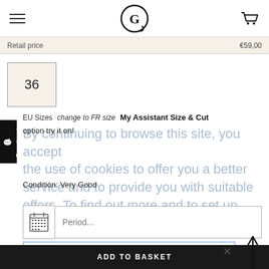[Figure (logo): Circular G logo icon in the page header]
Retail price
36
EU Sizes  change to FR size  My Assistant Size & Cut
option try it on!
By continuing to browse this site, you accept the use of cookies to offer you a better service and to provide you with suitable offers. To find out more and to set up cookies, click here.
Condition: Very Good
Period...
Total rental price 24.00 €
ADD TO BASKET